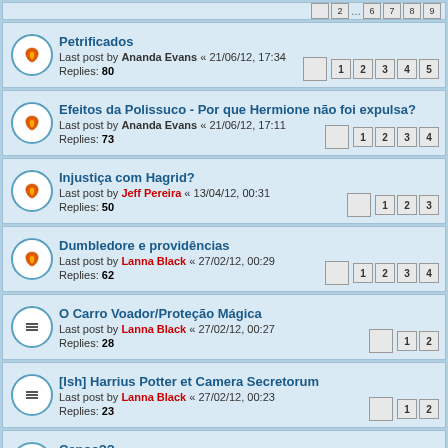Petrificados | Last post by Ananda Evans « 21/06/12, 17:34 | Replies: 80 | Pages: 1 2 3 4 5
Efeitos da Polissuco - Por que Hermione não foi expulsa? | Last post by Ananda Evans « 21/06/12, 17:11 | Replies: 73 | Pages: 1 2 3 4
Injustiça com Hagrid? | Last post by Jeff Pereira « 13/04/12, 00:31 | Replies: 50 | Pages: 1 2 3
Dumbledore e providências | Last post by Lanna Black « 27/02/12, 00:29 | Replies: 62 | Pages: 1 2 3 4
O Carro Voador/Proteção Mágica | Last post by Lanna Black « 27/02/12, 00:27 | Replies: 28 | Pages: 1 2
[Ish] Harrius Potter et Camera Secretorum | Last post by Lanna Black « 27/02/12, 00:23 | Replies: 23 | Pages: 1 2
Canos?? | Last post by Lanna Black « 11/02/12, 17:10 | Replies: 92 | Pages: 1 2 3 4 5
Duelo de Draco e Harry | Last post by Lanna Black « ...